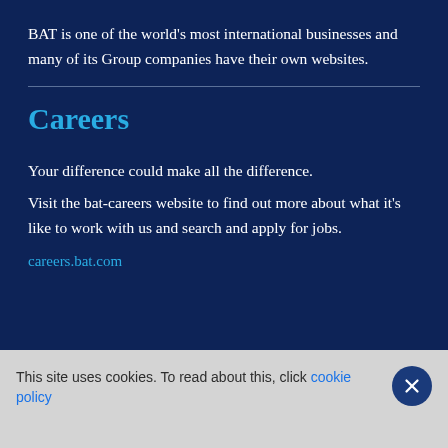BAT is one of the world's most international businesses and many of its Group companies have their own websites.
Careers
Your difference could make all the difference.
Visit the bat-careers website to find out more about what it's like to work with us and search and apply for jobs.
careers.bat.com
This site uses cookies. To read about this, click cookie policy